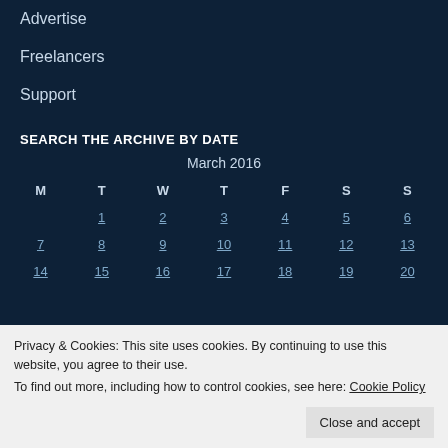Advertise
Freelancers
Support
SEARCH THE ARCHIVE BY DATE
| M | T | W | T | F | S | S |
| --- | --- | --- | --- | --- | --- | --- |
|  | 1 | 2 | 3 | 4 | 5 | 6 |
| 7 | 8 | 9 | 10 | 11 | 12 | 13 |
| 14 | 15 | 16 | 17 | 18 | 19 | 20 |
Privacy & Cookies: This site uses cookies. By continuing to use this website, you agree to their use. To find out more, including how to control cookies, see here: Cookie Policy
Close and accept